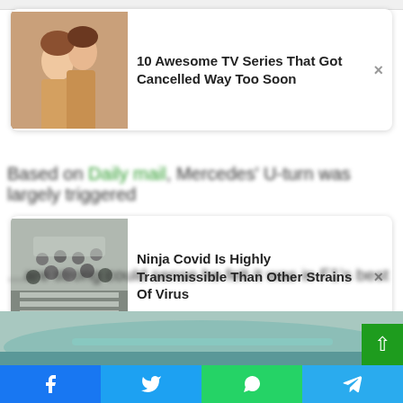[Figure (screenshot): Ad card 1: TV show thumbnail image with two people, titled '10 Awesome TV Series That Got Cancelled Way Too Soon' with close button]
Based on Daily mail, Mercedes' U-turn was largely triggered ... interest not to continue following legal path.
[Figure (screenshot): Ad card 2: Crowd crossing street thumbnail, titled 'Ninja Covid Is Highly Transmissible Than Other Strains Of Virus' with close button]
He still feels ‘bitter’ about the way events unfolded, while Mercedes’ lawyers feel they have an extremely strong case, but they were ready to refuse after the Model Sports Council FIA World acknowledges that there are lessons to be learned.
[Figure (photo): Partial bottom image strip showing a race track or sports venue]
[Figure (screenshot): Social share bar with Facebook, Twitter, WhatsApp, and Telegram buttons at the bottom]